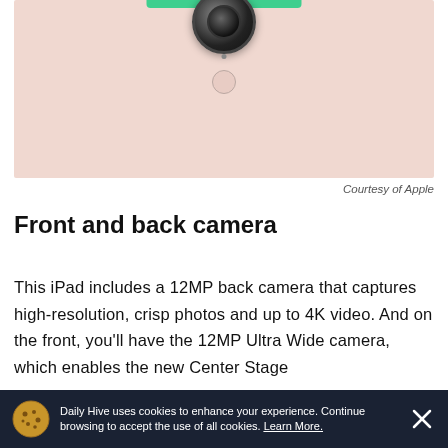[Figure (photo): Back of a pink iPad showing the rear camera bump and green bar at the top, photographed from behind on a plain background.]
Courtesy of Apple
Front and back camera
This iPad includes a 12MP back camera that captures high-resolution, crisp photos and up to 4K video. And on the front, you'll have the 12MP Ultra Wide camera, which enables the new Center Stage
Daily Hive uses cookies to enhance your experience. Continue browsing to accept the use of all cookies. Learn More.